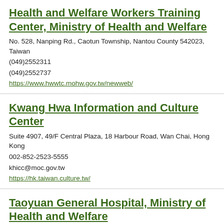Health and Welfare Workers Training Center, Ministry of Health and Welfare
No. 528, Nanping Rd., Caotun Township, Nantou County 542023, Taiwan
(049)2552311
(049)2552737
https://www.hwwtc.mohw.gov.tw/newweb/
Kwang Hwa Information and Culture Center
Suite 4907, 49/F Central Plaza, 18 Harbour Road, Wan Chai, Hong Kong
002-852-2523-5555
khicc@moc.gov.tw
https://hk.taiwan.culture.tw/
Taoyuan General Hospital, Ministry of Health and Welfare
No. 1492, Zhongshan Rd., Taoyuan Dist., Taoyuan City 330215, Taiwan